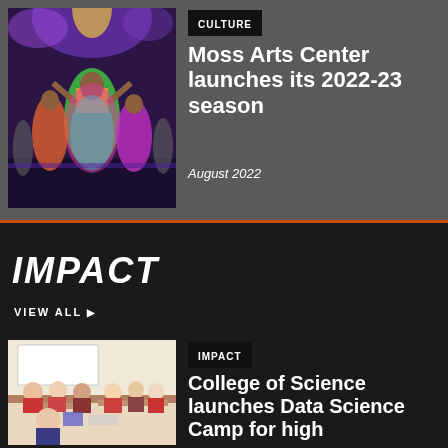[Figure (photo): Performers in colorful dresses dancing on stage under purple and yellow lights]
CULTURE
Moss Arts Center launches its 2022-23 season
August 2022
IMPACT
VIEW ALL
[Figure (photo): Students seated at tables in a classroom or cafeteria setting]
IMPACT
College of Science launches Data Science Camp for high